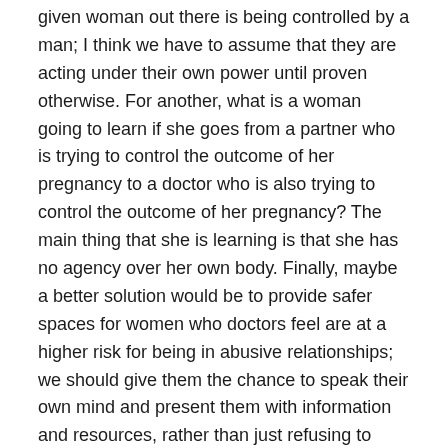given woman out there is being controlled by a man; I think we have to assume that they are acting under their own power until proven otherwise. For another, what is a woman going to learn if she goes from a partner who is trying to control the outcome of her pregnancy to a doctor who is also trying to control the outcome of her pregnancy? The main thing that she is learning is that she has no agency over her own body. Finally, maybe a better solution would be to provide safer spaces for women who doctors feel are at a higher risk for being in abusive relationships; we should give them the chance to speak their own mind and present them with information and resources, rather than just refusing to reveal their fetus' gender.
Another issue that I have with the term female feticide and the ways that we talk about it are that it's hard not to feel